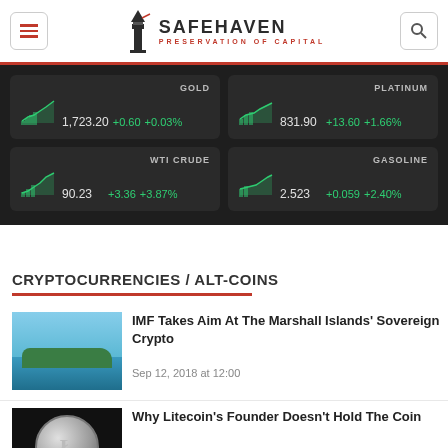[Figure (logo): SafeHaven Preservation of Capital logo with lighthouse icon]
[Figure (infographic): Market ticker panel showing GOLD 1,723.20 +0.60 +0.03%, PLATINUM 831.90 +13.60 +1.66%, WTI CRUDE 90.23 +3.36 +3.87%, GASOLINE 2.523 +0.059 +2.40%]
CRYPTOCURRENCIES / ALT-COINS
[Figure (photo): Aerial view of Marshall Islands tropical island with turquoise water]
IMF Takes Aim At The Marshall Islands' Sovereign Crypto
Sep 12, 2018 at 12:00
[Figure (photo): Litecoin silver coin close-up on dark background]
Why Litecoin's Founder Doesn't Hold The Coin